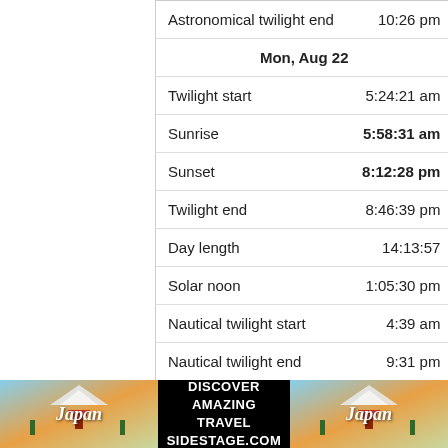| Event | Time |
| --- | --- |
| Astronomical twilight end | 10:26 pm |
| Mon, Aug 22 |  |
| Twilight start | 5:24:21 am |
| Sunrise | 5:58:31 am |
| Sunset | 8:12:28 pm |
| Twilight end | 8:46:39 pm |
| Day length | 14:13:57 |
| Solar noon | 1:05:30 pm |
| Nautical twilight start | 4:39 am |
| Nautical twilight end | 9:31 pm |
| Astronomical twilight start | 3:47 am |
[Figure (photo): Advertisement banner for Japan travel featuring pagoda images and text DISCOVER AMAZING TRAVEL SIDESTAGE.COM]